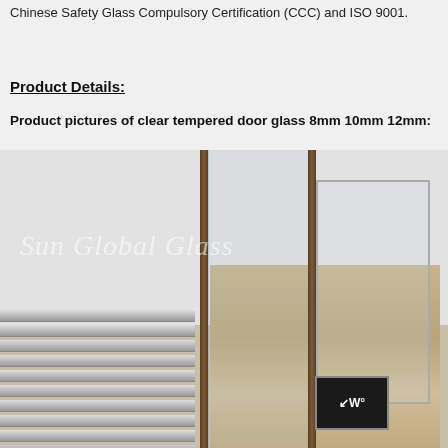Chinese Safety Glass Compulsory Certification (CCC) and ISO 9001.
Product Details:
Product pictures of clear tempered door glass 8mm 10mm 12mm:
[Figure (photo): Photo of clear tempered glass door panels with bronze/dark metal frames, showing sliding/frameless glass doors in an interior setting with wood paneling and venetian blinds. Sun Global Glass watermark visible.]